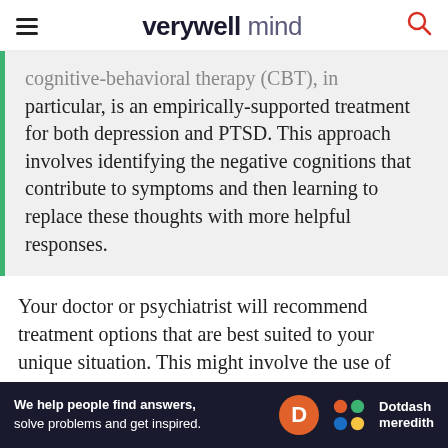verywell mind
Cognitive-behavioral therapy (CBT), in particular, is an empirically-supported treatment for both depression and PTSD. This approach involves identifying the negative cognitions that contribute to symptoms and then learning to replace these thoughts with more helpful responses.
Your doctor or psychiatrist will recommend treatment options that are best suited to your unique situation. This might involve the use of psychotherapy, such as CBT, as well as anti-anxiety or antidepressant medications. Self-help options such as lifestyle changes or online therapy
[Figure (other): Dotdash Meredith advertisement banner: 'We help people find answers, solve problems and get inspired.' with D logo and Dotdash meredith branding]